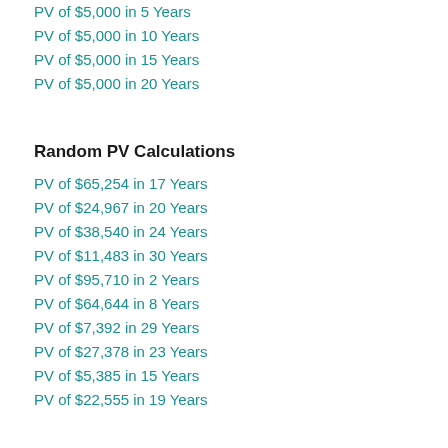PV of $5,000 in 5 Years
PV of $5,000 in 10 Years
PV of $5,000 in 15 Years
PV of $5,000 in 20 Years
Random PV Calculations
PV of $65,254 in 17 Years
PV of $24,967 in 20 Years
PV of $38,540 in 24 Years
PV of $11,483 in 30 Years
PV of $95,710 in 2 Years
PV of $64,644 in 8 Years
PV of $7,392 in 29 Years
PV of $27,378 in 23 Years
PV of $5,385 in 15 Years
PV of $22,555 in 19 Years